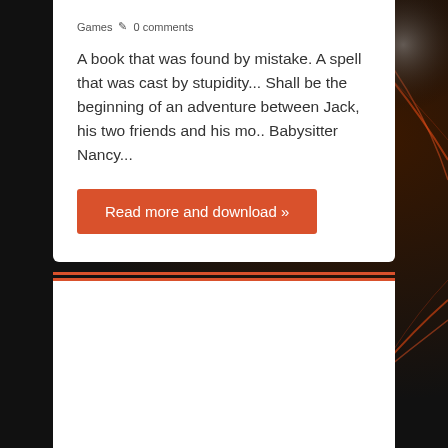Games  ✎ 0 comments
A book that was found by mistake. A spell that was cast by stupidity... Shall be the beginning of an adventure between Jack, his two friends and his mo.. Babysitter Nancy...
Read more and download »